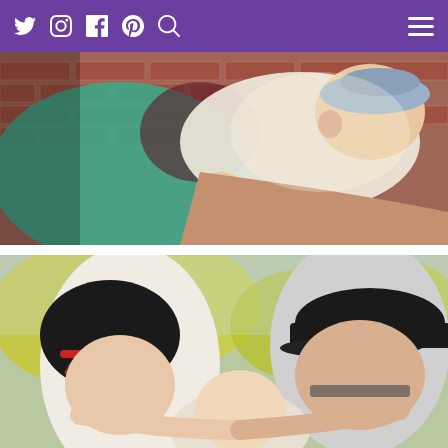Social media navigation bar with Twitter, Instagram, Facebook, Pinterest, Search icons and hamburger menu
[Figure (photo): Close-up outdoor photo of a baby wearing a hat being held in an adult's arms, with a brick wall and green clothing visible in the background.]
[Figure (photo): Outdoor photo of a woman with sunglasses and a man in a black baseball cap, both leaning in close to a baby, with yellow-green trees in the background.]